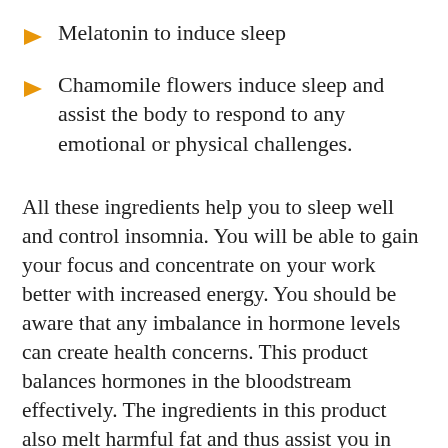Melatonin to induce sleep
Chamomile flowers induce sleep and assist the body to respond to any emotional or physical challenges.
All these ingredients help you to sleep well and control insomnia. You will be able to gain your focus and concentrate on your work better with increased energy. You should be aware that any imbalance in hormone levels can create health concerns. This product balances hormones in the bloodstream effectively. The ingredients in this product also melt harmful fat and thus assist you in reducing weight too. What I like the most about this product is that the users have not complained of any side effects and claim that it is absolutely safe to use. No allergies or irrigations